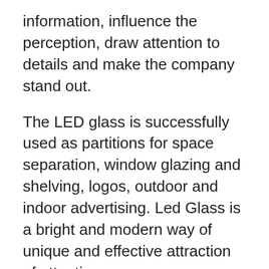information, influence the perception, draw attention to details and make the company stand out.
The LED glass is successfully used as partitions for space separation, window glazing and shelving, logos, outdoor and indoor advertising. Led Glass is a bright and modern way of unique and effective attraction of attention.
This type of material is successfully used in glazing facades of office buildings and industrial complexes. In the daytime, high-tech glass fills the room with light, and at night turns into a real dazzling work of art, which draws